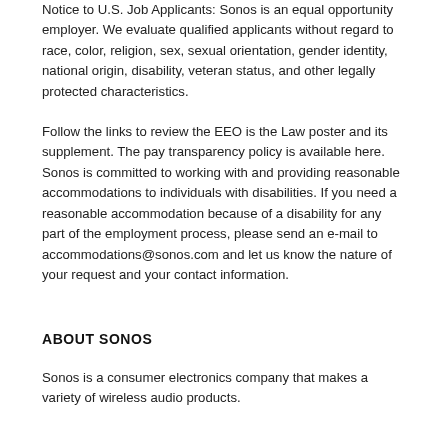Notice to U.S. Job Applicants: Sonos is an equal opportunity employer. We evaluate qualified applicants without regard to race, color, religion, sex, sexual orientation, gender identity, national origin, disability, veteran status, and other legally protected characteristics.
Follow the links to review the EEO is the Law poster and its supplement. The pay transparency policy is available here. Sonos is committed to working with and providing reasonable accommodations to individuals with disabilities. If you need a reasonable accommodation because of a disability for any part of the employment process, please send an e-mail to accommodations@sonos.com and let us know the nature of your request and your contact information.
ABOUT SONOS
Sonos is a consumer electronics company that makes a variety of wireless audio products.